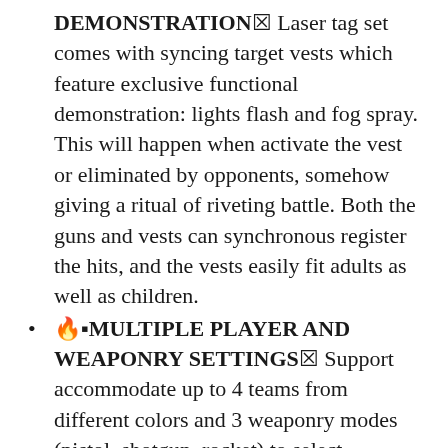DEMONSTRATION✖ Laser tag set comes with syncing target vests which feature exclusive functional demonstration: lights flash and fog spray. This will happen when activate the vest or eliminated by opponents, somehow giving a ritual of riveting battle. Both the guns and vests can synchronous register the hits, and the vests easily fit adults as well as children.
🔥▪MULTIPLE PLAYER AND WEAPONRY SETTINGS✖ Support accommodate up to 4 teams from different colors and 3 weaponry modes (pistol, shotgun, rocket) to select. Different weaponry modes feature real shooting sounds and palpable vibrations when hit, giving you a real life battle experience instead of living it through video characters. You can add unlimited guns and vests as all Sauce Laser